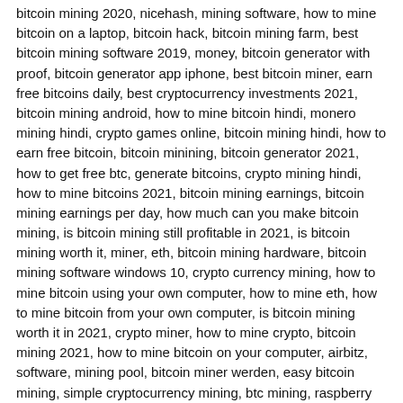bitcoin mining 2020, nicehash, mining software, how to mine bitcoin on a laptop, bitcoin hack, bitcoin mining farm, best bitcoin mining software 2019, money, bitcoin generator with proof, bitcoin generator app iphone, best bitcoin miner, earn free bitcoins daily, best cryptocurrency investments 2021, bitcoin mining android, how to mine bitcoin hindi, monero mining hindi, crypto games online, bitcoin mining hindi, how to earn free bitcoin, bitcoin minining, bitcoin generator 2021, how to get free btc, generate bitcoins, crypto mining hindi, how to mine bitcoins 2021, bitcoin mining earnings, bitcoin mining earnings per day, how much can you make bitcoin mining, is bitcoin mining still profitable in 2021, is bitcoin mining worth it, miner, eth, bitcoin mining hardware, bitcoin mining software windows 10, crypto currency mining, how to mine bitcoin using your own computer, how to mine eth, how to mine bitcoin from your own computer, is bitcoin mining worth it in 2021, crypto miner, how to mine crypto, bitcoin mining 2021, how to mine bitcoin on your computer, airbitz, software, mining pool, bitcoin miner werden, easy bitcoin mining, simple cryptocurrency mining, btc mining, raspberry pi, bitcoin miner pro 2020 v 3.2 crack, mining ethereum, bitcoin miner software crack, btc miner ultimate download, best bitcoin mining software ? 2020 edition, bitcoin mining software with keygen free download, miner bitcoin windows 10, mine cryptocurrency, how to mine ethereum 2021, bitcoin mining software machine, bitcoin miner download, bitcoin miner software, mining profitability, bitcoin miner pc download, bitcoin miner pc free